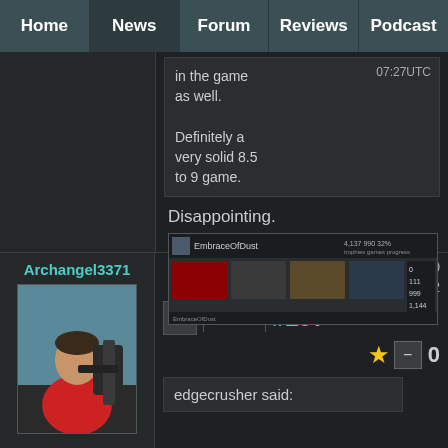Home | News | Forum | Reviews | Podcast
in the game as well. Definitely a very solid 8.5 to 9 game. 07:27UTC
Disappointing.
[Figure (screenshot): Steam profile screenshot showing EmbraceOfDust user profile with game stats]
Archangel3371
[Figure (photo): Photo of a man in a red t-shirt holding a futuristic weapon prop]
Thu, 04 Mar 2010 00:51:12
hide #297
0
edgecrusher said: